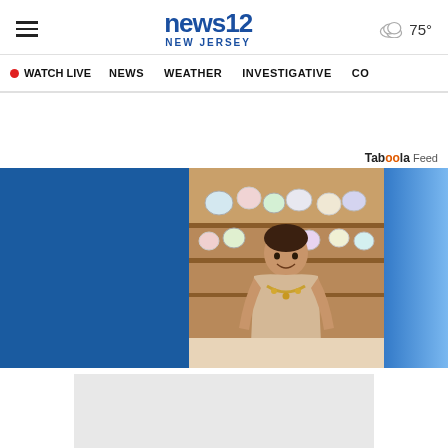news12 NEW JERSEY | 75°
WATCH LIVE  NEWS  WEATHER  INVESTIGATIVE  CO
Taboola Feed
[Figure (photo): A woman standing in a shop/store filled with decorative plates and colorful items on shelves, wearing a beige top and a gold necklace, with blue background panels on left and right sides.]
[Figure (other): Light gray advertisement placeholder rectangle]